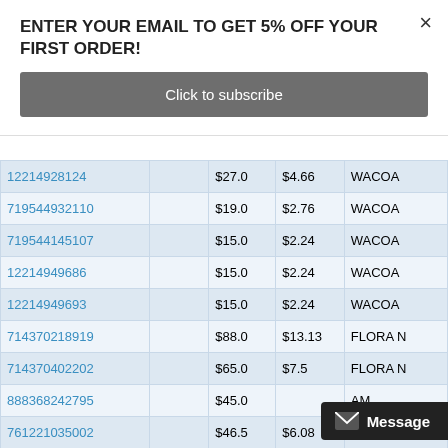ENTER YOUR EMAIL TO GET 5% OFF YOUR FIRST ORDER!
Click to subscribe
| ID |  | Price | Fee | Brand |
| --- | --- | --- | --- | --- |
| 12214928124 |  | $27.0 | $4.66 | WACOAL |
| 719544932110 |  | $19.0 | $2.76 | WACOAL |
| 719544145107 |  | $15.0 | $2.24 | WACOAL |
| 12214949686 |  | $15.0 | $2.24 | WACOAL |
| 12214949693 |  | $15.0 | $2.24 | WACOAL |
| 714370218919 |  | $88.0 | $13.13 | FLORA N |
| 714370402202 |  | $65.0 | $7.5 | FLORA N |
| 888368242795 |  | $45.0 |  | AM |
| 761221035002 |  | $46.5 | $6.08 | MGT N |